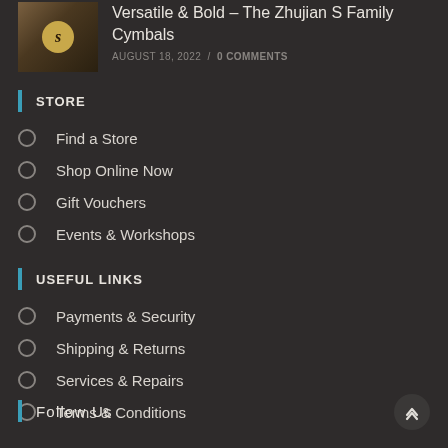[Figure (photo): Thumbnail image of a cymbal with a stylized S logo, dark brown tones with wood/cymbal background]
Versatile & Bold – The Zhujian S Family Cymbals
AUGUST 18, 2022 / 0 COMMENTS
STORE
Find a Store
Shop Online Now
Gift Vouchers
Events & Workshops
USEFUL LINKS
Payments & Security
Shipping & Returns
Services & Repairs
Terms & Conditions
Follow Us